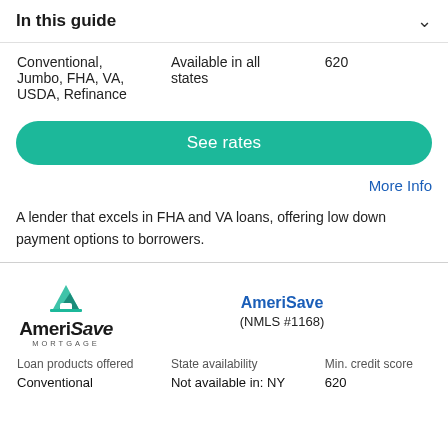In this guide
| Loan products offered | State availability | Min. credit score |
| --- | --- | --- |
| Conventional, Jumbo, FHA, VA, USDA, Refinance | Available in all states | 620 |
See rates
More Info
A lender that excels in FHA and VA loans, offering low down payment options to borrowers.
[Figure (logo): AmeriSave Mortgage logo with teal house icon]
AmeriSave (NMLS #1168)
| Loan products offered | State availability | Min. credit score |
| --- | --- | --- |
| Conventional | Not available in: NY | 620 |